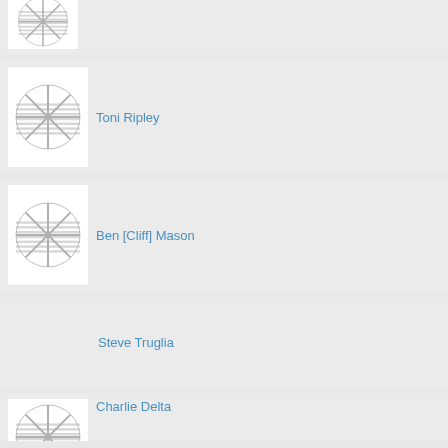[Figure (illustration): Partial contact card with placeholder avatar icon (top cut off)]
[Figure (illustration): Contact card for Toni Ripley with placeholder avatar icon]
Toni Ripley
[Figure (illustration): Contact card for Ben [Cliff] Mason with placeholder avatar icon]
Ben [Cliff] Mason
Steve Truglia
[Figure (illustration): Partial contact card for Charlie Delta with placeholder avatar icon (bottom cut off)]
Charlie Delta